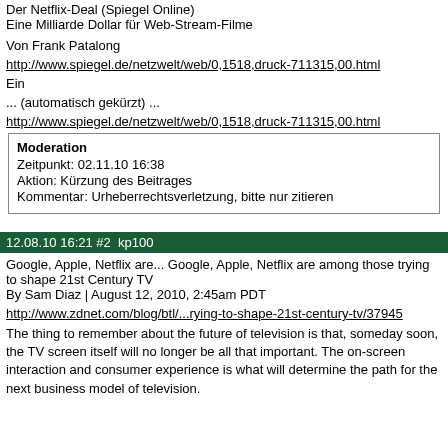Der Netflix-Deal (Spiegel Online)
Eine Milliarde Dollar für Web-Stream-Filme
Von Frank Patalong
http://www.spiegel.de/netzwelt/web/0,1518,druck-711315,00.html
Ein
... (automatisch gekürzt) ...
http://www.spiegel.de/netzwelt/web/0,1518,druck-711315,00.html
| Moderation |
| Zeitpunkt: 02.11.10 16:38 |
| Aktion: Kürzung des Beitrages |
| Kommentar: Urheberrechtsverletzung, bitte nur zitieren |
12.08.10 16:21 #2  kp100
Google, Apple, Netflix are... Google, Apple, Netflix are among those trying to shape 21st Century TV
By Sam Diaz | August 12, 2010, 2:45am PDT
http://www.zdnet.com/blog/btl/...rying-to-shape-21st-century-tv/37945
The thing to remember about the future of television is that, someday soon, the TV screen itself will no longer be all that important. The on-screen interaction and consumer experience is what will determine the path for the next business model of television.